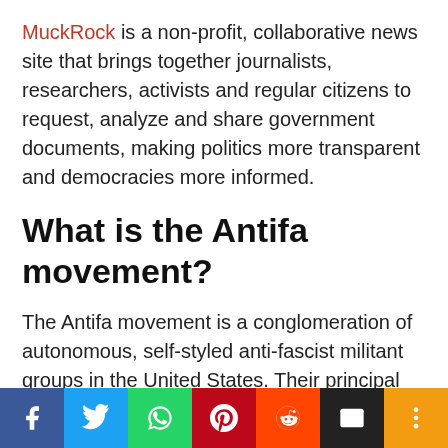MuckRock is a non-profit, collaborative news site that brings together journalists, researchers, activists and regular citizens to request, analyze and share government documents, making politics more transparent and democracies more informed.
What is the Antifa movement?
The Antifa movement is a conglomeration of autonomous, self-styled anti-fascist militant groups in the United States. Their principal feature is an opposition to fascism, far-right and white supremacist ideologies, paired with the use of direct, rather than political, fighting in their efforts. They